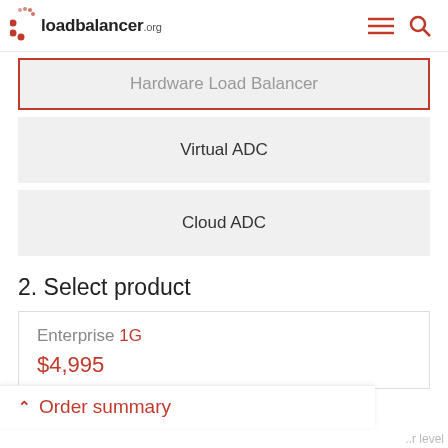loadbalancer.org
Hardware Load Balancer
Virtual ADC
Cloud ADC
2. Select product
Enterprise 1G
$4,995
Order summary